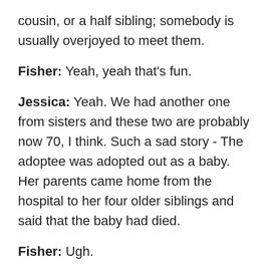cousin, or a half sibling; somebody is usually overjoyed to meet them.
Fisher: Yeah, yeah that's fun.
Jessica: Yeah. We had another one from sisters and these two are probably now 70, I think. Such a sad story - The adoptee was adopted out as a baby. Her parents came home from the hospital to her four older siblings and said that the baby had died.
Fisher: Ugh.
Jessica: But she was adopted out. I guess they just didn't feel like they could afford to care for her. So, they are now in contact, but that